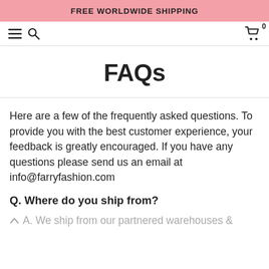FREE WORLDWIDE SHIPPING
≡ 🔍   🛒 0
FAQs
Here are a few of the frequently asked questions. To provide you with the best customer experience, your feedback is greatly encouraged. If you have any questions please send us an email at info@farryfashion.com
Q. Where do you ship from?
A. We ship from our partnered warehouses &